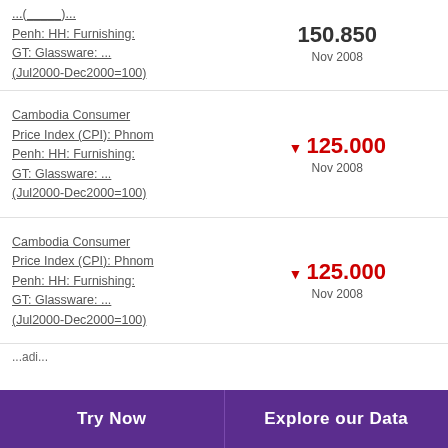...Phnom Penh: HH: Furnishing: GT: Glassware: ... (Jul2000-Dec2000=100)
Cambodia Consumer Price Index (CPI): Phnom Penh: HH: Furnishing: GT: Glassware: ... (Jul2000-Dec2000=100)
Cambodia Consumer Price Index (CPI): Phnom Penh: HH: Furnishing: GT: Glassware: ... (Jul2000-Dec2000=100)
Try Now | Explore our Data